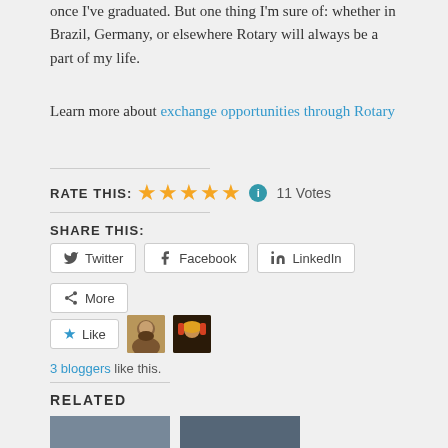once I've graduated. But one thing I'm sure of: whether in Brazil, Germany, or elsewhere Rotary will always be a part of my life.
Learn more about exchange opportunities through Rotary
RATE THIS: ★★★★★ ℹ 11 Votes
SHARE THIS:
Twitter  Facebook  LinkedIn  More
[Figure (infographic): Like button and two blogger avatars, with text '3 bloggers like this.']
RELATED